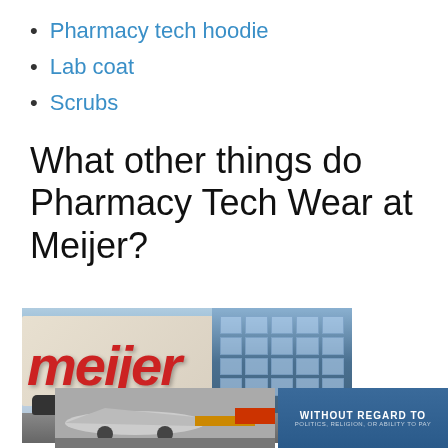Pharmacy tech hoodie
Lab coat
Scrubs
What other things do Pharmacy Tech Wear at Meijer?
[Figure (photo): Exterior photo of a Meijer store showing the red Meijer logo sign and the glass building facade]
[Figure (photo): Photo of an airplane on the tarmac being loaded with cargo, showing Southwest Airlines colors]
[Figure (photo): Advertisement banner with text WITHOUT REGARD TO POLITICS, RELIGION, OR ABILITY TO PAY]